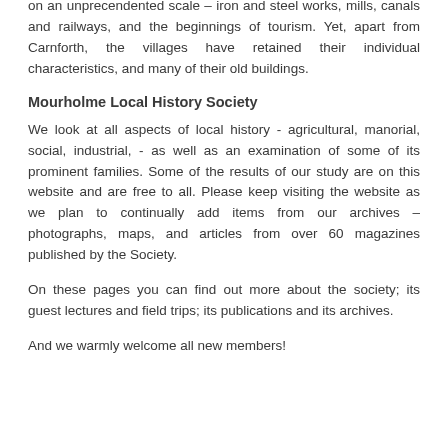on an unprecendented scale – iron and steel works, mills, canals and railways, and the beginnings of tourism. Yet, apart from Carnforth, the villages have retained their individual characteristics, and many of their old buildings.
Mourholme Local History Society
We look at all aspects of local history - agricultural, manorial, social, industrial, - as well as an examination of some of its prominent families. Some of the results of our study are on this website and are free to all. Please keep visiting the website as we plan to continually add items from our archives – photographs, maps, and articles from over 60 magazines published by the Society.
On these pages you can find out more about the society; its guest lectures and field trips; its publications and its archives.
And we warmly welcome all new members!